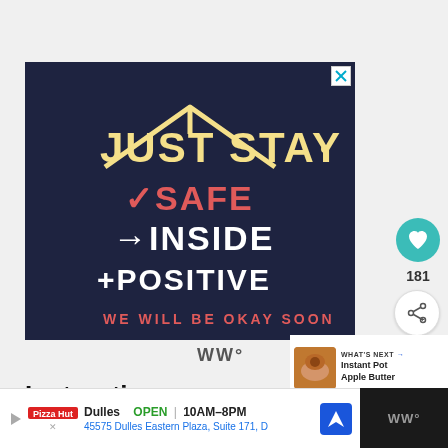[Figure (illustration): Dark navy blue advertisement with hand-drawn text reading 'JUST STAY' at top with a house roof shape above it, '✓SAFE' in salmon/red, '→INSIDE' in white, '+POSITIVE' in white below, and 'WE WILL BE OKAY SOON' in red at bottom. Close (X) button in top right corner.]
181
[Figure (illustration): What's Next section with food image (Instant Pot Apple Butter) and arrow icon]
WHAT'S NEXT → Instant Pot Apple Butter
Instructions
Dulles  OPEN | 10AM–8PM  45575 Dulles Eastern Plaza, Suite 171, D